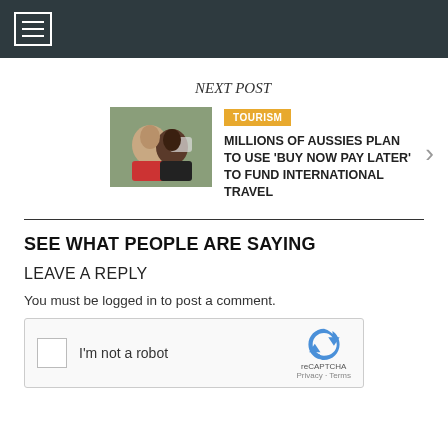Navigation menu bar
NEXT POST
[Figure (photo): Thumbnail photo of two women smiling, one holding a phone]
TOURISM
MILLIONS OF AUSSIES PLAN TO USE 'BUY NOW PAY LATER' TO FUND INTERNATIONAL TRAVEL
SEE WHAT PEOPLE ARE SAYING
LEAVE A REPLY
You must be logged in to post a comment.
[Figure (other): reCAPTCHA widget with checkbox and I'm not a robot label, reCAPTCHA logo, Privacy and Terms links]